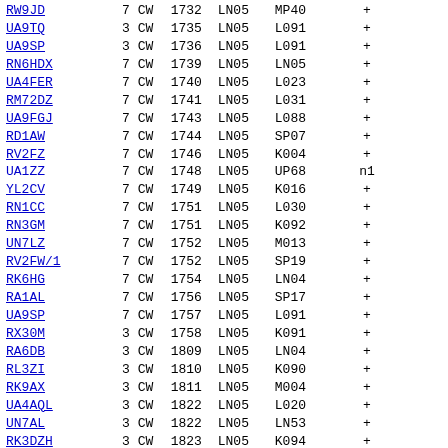| Callsign | Num | Mode | Time | Net | Loc | Status | Extra |
| --- | --- | --- | --- | --- | --- | --- | --- |
| RW9JD | 7 | CW | 1732 | LN05 | MP40 | + |  |
| UA9TQ | 3 | CW | 1735 | LN05 | L091 | + |  |
| UA9SP | 3 | CW | 1736 | LN05 | L091 | + |  |
| RN6HDX | 7 | CW | 1739 | LN05 | LN05 | + |  |
| UA4FER | 7 | CW | 1740 | LN05 | L023 | + |  |
| RM72DZ | 7 | CW | 1741 | LN05 | L031 | + |  |
| UA9FGJ | 7 | CW | 1743 | LN05 | L088 | + |  |
| RD1AW | 7 | CW | 1744 | LN05 | SP07 | + |  |
| RV2FZ | 7 | CW | 1746 | LN05 | K004 | + |  |
| UA1ZZ | 7 | CW | 1748 | LN05 | UP68 | n1 |  |
| YL2CV | 7 | CW | 1749 | LN05 | K016 | + |  |
| RN1CC | 7 | CW | 1751 | LN05 | L030 | + |  |
| RN3GM | 7 | CW | 1751 | LN05 | K092 | + |  |
| UN7LZ | 7 | CW | 1752 | LN05 | M013 | + |  |
| RV2FW/1 | 7 | CW | 1752 | LN05 | SP19 | + |  |
| RK6HG | 7 | CW | 1754 | LN05 | LN04 | + |  |
| RA1AL | 7 | CW | 1756 | LN05 | SP17 | + |  |
| UA9SP | 7 | CW | 1757 | LN05 | L091 | + |  |
| RX30M | 3 | CW | 1758 | LN05 | K091 | + |  |
| RA6DB | 3 | CW | 1809 | LN05 | LN04 | + |  |
| RL3ZI | 3 | CW | 1810 | LN05 | K090 | + |  |
| RK9AX | 3 | CW | 1811 | LN05 | M004 | + |  |
| UA4AQL | 3 | CW | 1822 | LN05 | L020 | + |  |
| UN7AL | 3 | CW | 1822 | LN05 | LN53 | + |  |
| RK3DZH | 3 | CW | 1823 | LN05 | K094 | + |  |
| UA2FL | 3 | CW | 1824 | LN05 | K004 | T | 1828 |
| UN7LZ | 3 | CW | 1828 | LN05 | M013 | + |  |
| UA6GS | 3 | CW | 1829 | LN05 | LN05 | + |  |
| RV3FI | 3 | CW | 1830 | LN05 | K086 | + |  |
| RN6HDX | 3 | CW | 1831 | LN05 | LN05 | + |  |